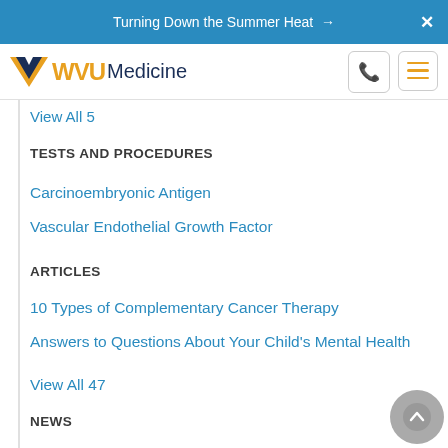Turning Down the Summer Heat →  X
[Figure (logo): WVU Medicine logo with flying WV bird mark in gold and navy, phone icon button, and hamburger menu button]
View All 5
TESTS AND PROCEDURES
Carcinoembryonic Antigen
Vascular Endothelial Growth Factor
ARTICLES
10 Types of Complementary Cancer Therapy
Answers to Questions About Your Child's Mental Health
View All 47
NEWS
1 in 7 Cancer Patients Worldwide Missed a Surgery Due to Pandemic